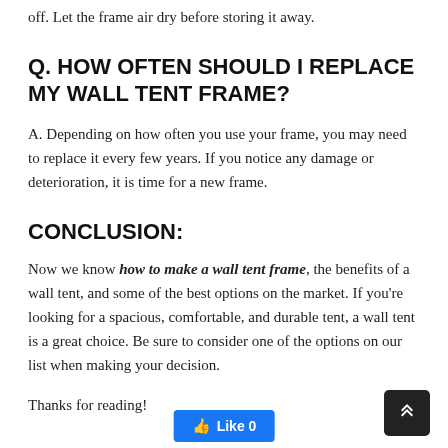off. Let the frame air dry before storing it away.
Q. HOW OFTEN SHOULD I REPLACE MY WALL TENT FRAME?
A. Depending on how often you use your frame, you may need to replace it every few years. If you notice any damage or deterioration, it is time for a new frame.
CONCLUSION:
Now we know how to make a wall tent frame, the benefits of a wall tent, and some of the best options on the market. If you're looking for a spacious, comfortable, and durable tent, a wall tent is a great choice. Be sure to consider one of the options on our list when making your decision.
Thanks for reading!